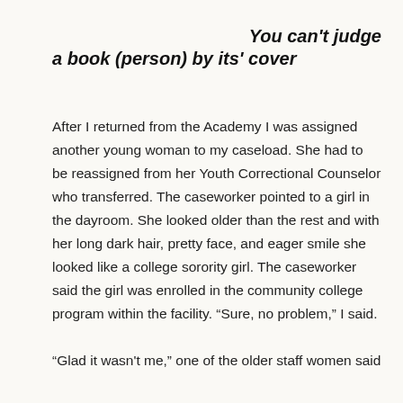You can't judge a book (person) by its' cover
After I returned from the Academy I was assigned another young woman to my caseload. She had to be reassigned from her Youth Correctional Counselor who transferred. The caseworker pointed to a girl in the dayroom. She looked older than the rest and with her long dark hair, pretty face, and eager smile she looked like a college sorority girl. The caseworker said the girl was enrolled in the community college program within the facility. “Sure, no problem,” I said.
“Glad it wasn’t me,” one of the older staff women said who told her I had the girl assigned to me. “I had her before and she’ll drive you crazy.”